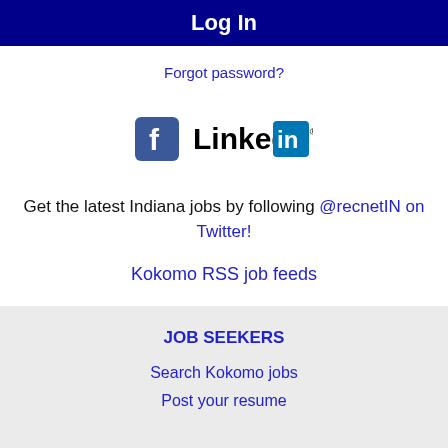Log In
Forgot password?
[Figure (logo): Facebook and LinkedIn social media icons side by side]
Get the latest Indiana jobs by following @recnetIN on Twitter!
Kokomo RSS job feeds
JOB SEEKERS
Search Kokomo jobs
Post your resume